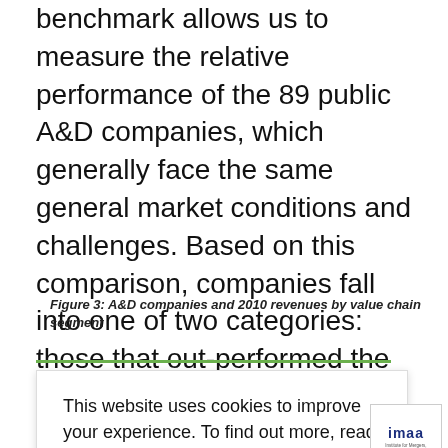benchmark allows us to measure the relative performance of the 89 public A&D companies, which generally face the same general market conditions and challenges. Based on this comparison, companies fall into one of two categories: those that out-performed the sector benchmark and those that under-performed.
Figure 3: A&D companies and 2010 revenues by value chain segment
This website uses cookies to improve your experience. To find out more, read our data privacy data protection and cookie policy
Cookie Settings  Accept All
[Figure (other): IMAA (Institute for Mergers, Acquisitions & Alliances) logo in white box with border]
| Segment | Acquisition | Acquisitions |
| --- | --- | --- |